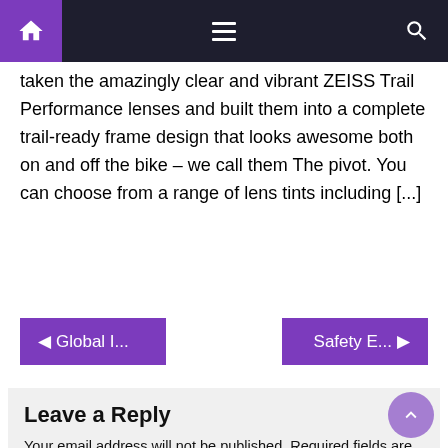Navigation bar with home icon, hamburger menu, and search icon
taken the amazingly clear and vibrant ZEISS Trail Performance lenses and built them into a complete trail-ready frame design that looks awesome both on and off the bike – we call them The pivot. You can choose from a range of lens tints including [...]
◄ Global I...
Safety E... ►
Leave a Reply
Your email address will not be published. Required fields are marked *
Comment *